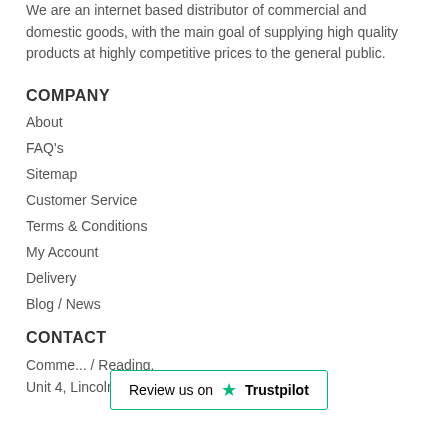We are an internet based distributor of commercial and domestic goods, with the main goal of supplying high quality products at highly competitive prices to the general public.
COMPANY
About
FAQ's
Sitemap
Customer Service
Terms & Conditions
My Account
Delivery
Blog / News
CONTACT
Comme... / Reading,
Unit 4, Lincoln Park,
[Figure (other): Trustpilot review badge with green star and text 'Review us on Trustpilot']